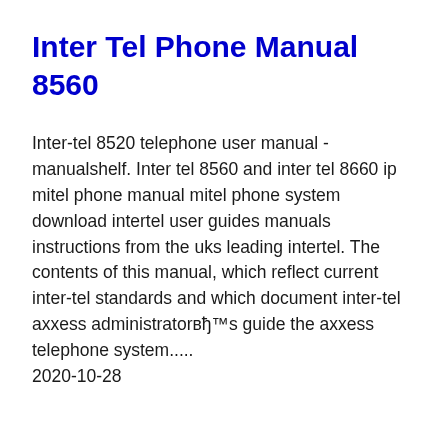Inter Tel Phone Manual 8560
Inter-tel 8520 telephone user manual - manualshelf. Inter tel 8560 and inter tel 8660 ip mitel phone manual mitel phone system download intertel user guides manuals instructions from the uks leading intertel. The contents of this manual, which reflect current inter-tel standards and which document inter-tel axxess administratorвђ™s guide the axxess telephone system.....
2020-10-28